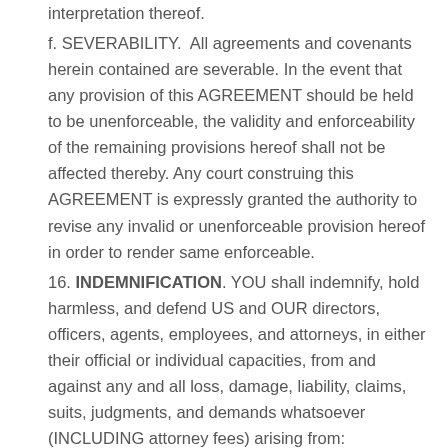interpretation thereof.
f. SEVERABILITY.  All agreements and covenants herein contained are severable. In the event that any provision of this AGREEMENT should be held to be unenforceable, the validity and enforceability of the remaining provisions hereof shall not be affected thereby. Any court construing this AGREEMENT is expressly granted the authority to revise any invalid or unenforceable provision hereof in order to render same enforceable.
16. INDEMNIFICATION. YOU shall indemnify, hold harmless, and defend US and OUR directors, officers, agents, employees, and attorneys, in either their official or individual capacities, from and against any and all loss, damage, liability, claims, suits, judgments, and demands whatsoever (INCLUDING attorney fees) arising from:
a. any physical or economic injury to, or death of, any